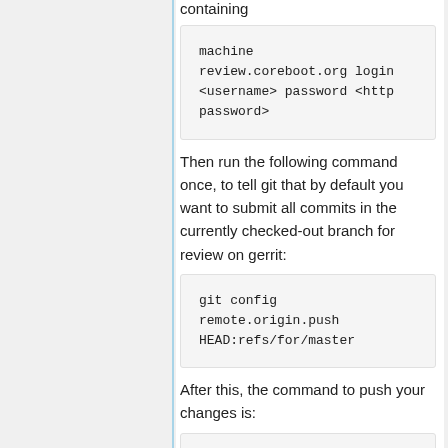containing
machine
review.coreboot.org login
<username> password <http
password>
Then run the following command once, to tell git that by default you want to submit all commits in the currently checked-out branch for review on gerrit:
git config
remote.origin.push
HEAD:refs/for/master
After this, the command to push your changes is:
git push origin